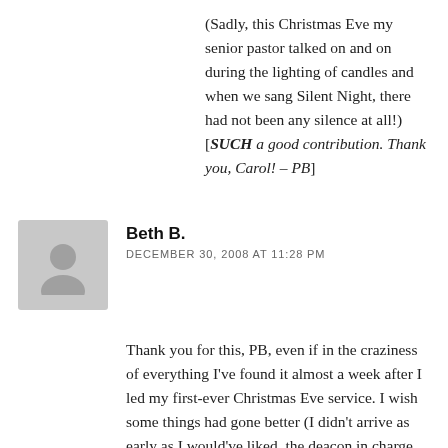(Sadly, this Christmas Eve my senior pastor talked on and on during the lighting of candles and when we sang Silent Night, there had not been any silence at all!) [SUCH a good contribution. Thank you, Carol! – PB]
Beth B.
DECEMBER 30, 2008 AT 11:28 PM
Thank you for this, PB, even if in the craziness of everything I've found it almost a week after I led my first-ever Christmas Eve service. I wish some things had gone better (I didn't arrive as early as I would've liked, the deacon in charge didn't arrive until 10 minutes before the service began, and none of us had thought to assign light turner-offers for Silent Night), but in the